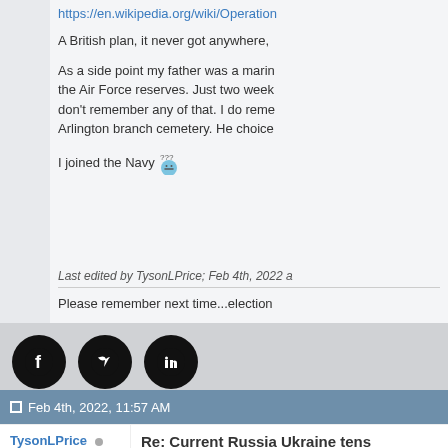https://en.wikipedia.org/wiki/Operation...
A British plan, it never got anywhere,
As a side point my father was a marin... the Air Force reserves. Just two week... don't remember any of that. I do reme... Arlington branch cemetery. He choice...
I joined the Navy 😕
Last edited by TysonLPrice; Feb 4th, 2022 a
Please remember next time...election
[Figure (logo): Social media icons: Facebook, Twitter, LinkedIn]
Feb 4th, 2022, 11:57 AM
TysonLPrice
Thread Starter
Re: Current Russia Ukraine tens